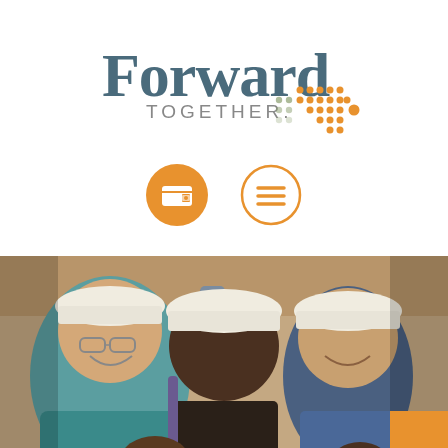[Figure (logo): Forward Together logo with dot-arrow graphic. 'Forward' in large dark teal/slate text, 'TOGETHER.' in smaller grey uppercase text, accompanied by a decorative dot pattern arrow in orange and grey-green.]
[Figure (infographic): Two circular icon buttons: a filled orange circle with a white wallet/folder icon, and an outlined circle with orange horizontal lines (hamburger menu icon).]
[Figure (photo): Three men wearing white baseball caps smiling together indoors. The man on the left wears glasses and a teal shirt. The man in the center is tall and wears a dark jacket with a backpack. The man on the right wears a blue shirt. There is an orange rectangle partially visible in the bottom right corner.]